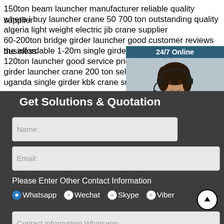150ton beam launcher manufacturer reliable quality supplier
where i buy launcher crane 50 700 ton outstanding quality
algeria light weight electric jib crane supplier
60-200ton bridge girder launcher good customer reviews business
the affordable 1-20m single girder kbk crane manufacturer
120ton launcher good service price
girder launcher crane 200 ton sells manufacturer
uganda single girder kbk crane supplier
[Figure (photo): Customer support representative with headset, with 24/7 Online label, Click here for free chat, and QUOTATION button]
Get Solutions & Quotation
Name:
Email:
Please Enter Other Contact Information
Whatsapp   Wechat   Skype   Viber
Contact information Whatsapp